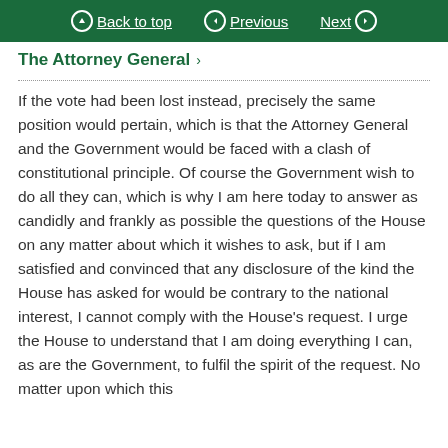Back to top | Previous | Next
The Attorney General
If the vote had been lost instead, precisely the same position would pertain, which is that the Attorney General and the Government would be faced with a clash of constitutional principle. Of course the Government wish to do all they can, which is why I am here today to answer as candidly and frankly as possible the questions of the House on any matter about which it wishes to ask, but if I am satisfied and convinced that any disclosure of the kind the House has asked for would be contrary to the national interest, I cannot comply with the House's request. I urge the House to understand that I am doing everything I can, as are the Government, to fulfil the spirit of the request. No matter upon which this